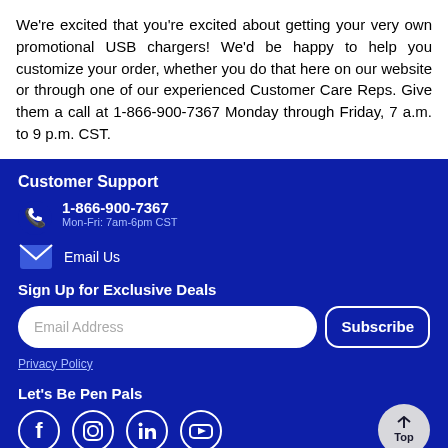We're excited that you're excited about getting your very own promotional USB chargers! We'd be happy to help you customize your order, whether you do that here on our website or through one of our experienced Customer Care Reps. Give them a call at 1-866-900-7367 Monday through Friday, 7 a.m. to 9 p.m. CST.
Customer Support
1-866-900-7367
Mon-Fri: 7am-6pm CST
Email Us
Sign Up for Exclusive Deals
Email Address
Subscribe
Privacy Policy
Let's Be Pen Pals
[Figure (infographic): Social media icons: Facebook, Instagram, LinkedIn, YouTube. Back-to-top button in bottom right.]